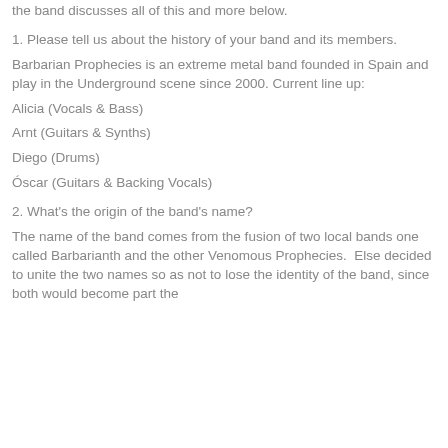the band discusses all of this and more below.
1. Please tell us about the history of your band and its members.
Barbarian Prophecies is an extreme metal band founded in Spain and play in the Underground scene since 2000. Current line up:
Alicia (Vocals & Bass)
Arnt (Guitars & Synths)
Diego (Drums)
Óscar (Guitars & Backing Vocals)
2. What's the origin of the band's name?
The name of the band comes from the fusion of two local bands one called Barbarianth and the other Venomous Prophecies.  Else decided to unite the two names so as not to lose the identity of the band, since both would become part the